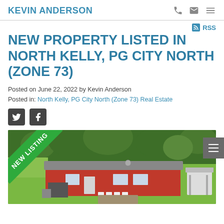KEVIN ANDERSON
RSS
NEW PROPERTY LISTED IN NORTH KELLY, PG CITY NORTH (ZONE 73)
Posted on June 22, 2022 by Kevin Anderson
Posted in: North Kelly, PG City North (Zone 73) Real Estate
[Figure (photo): Aerial photo of a red single-storey house with grey roof surrounded by green trees and lawn, with a small white gazebo structure to the right. A green 'NEW LISTING' diagonal banner badge overlays the top-left corner.]